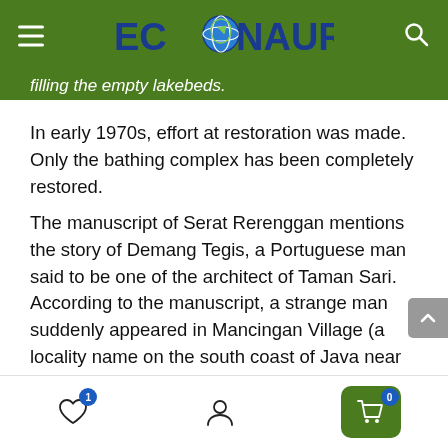ECONAUR
filling the empty lakebeds.
In early 1970s, effort at restoration was made. Only the bathing complex has been completely restored.
The manuscript of Serat Rerenggan mentions the story of Demang Tegis, a Portuguese man said to be one of the architect of Taman Sari. According to the manuscript, a strange man suddenly appeared in Mancingan Village (a locality name on the south coast of Java near Parangtritis). With long nose, white complexion, and a foreign language, the villagers suspected that the person was some kind